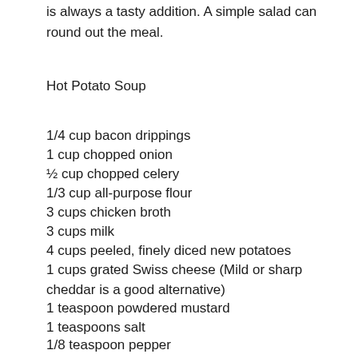is always a tasty addition. A simple salad can round out the meal.
Hot Potato Soup
1/4 cup bacon drippings
1 cup chopped onion
½ cup chopped celery
1/3 cup all-purpose flour
3 cups chicken broth
3 cups milk
4 cups peeled, finely diced new potatoes
1 cups grated Swiss cheese (Mild or sharp cheddar is a good alternative)
1 teaspoon powdered mustard
1 teaspoons salt
1/8 teaspoon pepper
In a large kettle, heat bacon drippings. Saute onion and